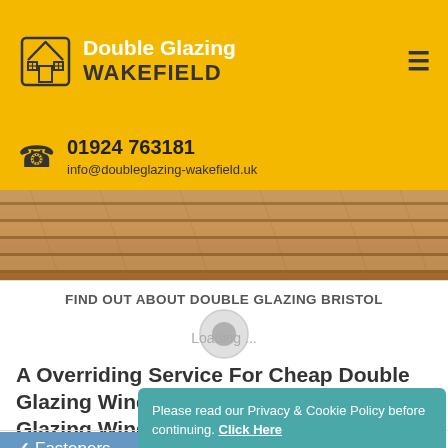Double Glazing WAKEFIELD
01924 763181
info@doubleglazing-wakefield.uk
[Figure (photo): Wood texture / wooden planks background image]
FIND OUT ABOUT DOUBLE GLAZING BRISTOL
A Overriding Service For Cheap Double Glazing Windows At Cheap Double Glazing Windows Calder Grove
Fasteners
Shutter doors
Please read our Privacy & Cookie Policy before continuing. Click Here
Decline  Accept